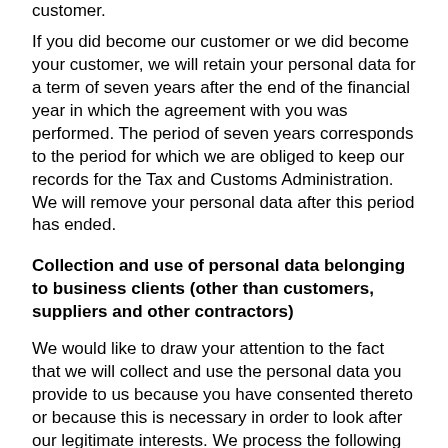customer.
If you did become our customer or we did become your customer, we will retain your personal data for a term of seven years after the end of the financial year in which the agreement with you was performed. The period of seven years corresponds to the period for which we are obliged to keep our records for the Tax and Customs Administration. We will remove your personal data after this period has ended.
Collection and use of personal data belonging to business clients (other than customers, suppliers and other contractors)
We would like to draw your attention to the fact that we will collect and use the personal data you provide to us because you have consented thereto or because this is necessary in order to look after our legitimate interests. We process the following data: name, address and contact details.
If you are a business relation of ours, we will use your data